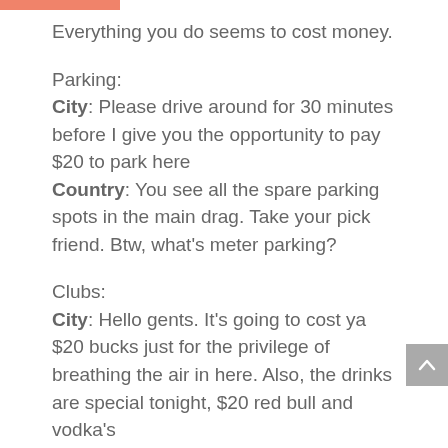Everything you do seems to cost money.
Parking:
City: Please drive around for 30 minutes before I give you the opportunity to pay $20 to park here
Country: You see all the spare parking spots in the main drag. Take your pick friend. Btw, what’s meter parking?
Clubs:
City: Hello gents. It’s going to cost ya $20 bucks just for the privilege of breathing the air in here. Also, the drinks are special tonight, $20 red bull and vodka’s